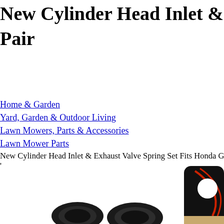New Cylinder Head Inlet & Exhaust Valve Spring Set Fits Honda GX Pair
Home & Garden
Yard, Garden & Outdoor Living
Lawn Mowers, Parts & Accessories
Lawn Mower Parts
New Cylinder Head Inlet & Exhaust Valve Spring Set Fits Honda GX
[Figure (photo): Product photo showing valve spring set components: black rubber seals/springs and a partial view of a gasket with red markings on black background]